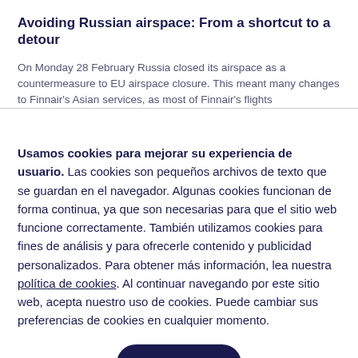Avoiding Russian airspace: From a shortcut to a detour
On Monday 28 February Russia closed its airspace as a countermeasure to EU airspace closure. This meant many changes to Finnair's Asian services, as most of Finnair's flights
Usamos cookies para mejorar su experiencia de usuario. Las cookies son pequeños archivos de texto que se guardan en el navegador. Algunas cookies funcionan de forma continua, ya que son necesarias para que el sitio web funcione correctamente. También utilizamos cookies para fines de análisis y para ofrecerle contenido y publicidad personalizados. Para obtener más información, lea nuestra política de cookies. Al continuar navegando por este sitio web, acepta nuestro uso de cookies. Puede cambiar sus preferencias de cookies en cualquier momento.
Cerrar
Definir preferencias de cookies